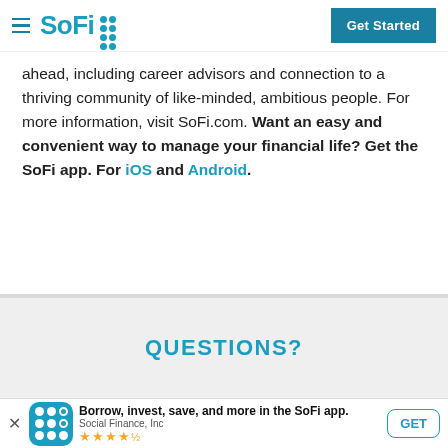SoFi — Get Started
ahead, including career advisors and connection to a thriving community of like-minded, ambitious people. For more information, visit SoFi.com. Want an easy and convenient way to manage your financial life? Get the SoFi app. For iOS and Android.
QUESTIONS?
Borrow, invest, save, and more in the SoFi app. Social Finance, Inc ★★★★½